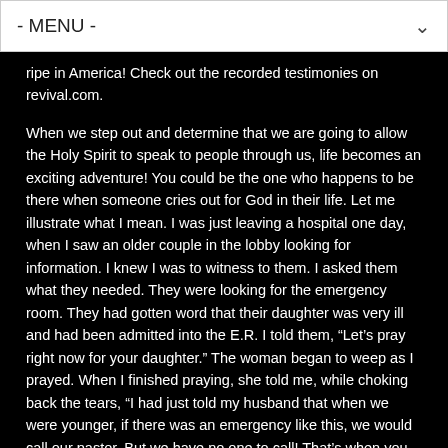- MENU -
ripe in America! Check out the recorded testimonies on revival.com.
When we step out and determine that we are going to allow the Holy Spirit to speak to people through us, life becomes an exciting adventure! You could be the one who happens to be there when someone cries out for God in their life. Let me illustrate what I mean. I was just leaving a hospital one day, when I saw an older couple in the lobby looking for information. I knew I was to witness to them. I asked them what they needed. They were looking for the emergency room. They had gotten word that their daughter was very ill and had been admitted into the E.R. I told them, “Let’s pray right now for your daughter.” The woman began to weep as I prayed. When I finished praying, she told me, while choking back the tears, “I had just told my husband that when we were younger, if there was an emergency like this, we would call our pastor. But we have no one to call! That’s when you walked up!” – God is so good! Life is such a fun adventure when